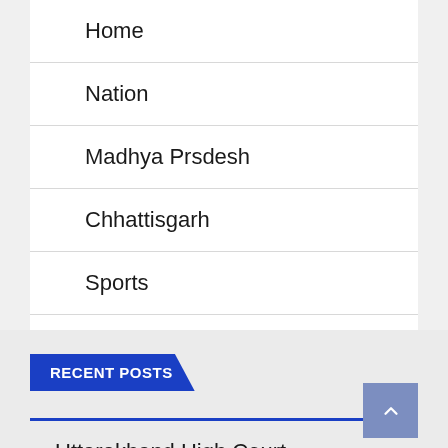Home
Nation
Madhya Prsdesh
Chhattisgarh
Sports
Login
RECENT POSTS
Uttarakhand High Court allows women from other